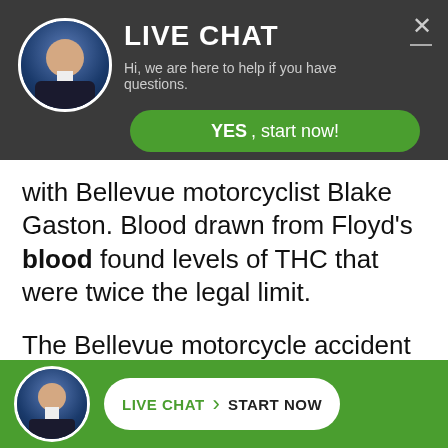[Figure (screenshot): Live chat widget header with avatar photo of a man in a suit, dark gray background, LIVE CHAT title in bold white, subtitle 'Hi, we are here to help if you have questions.', a green rounded YES start now button, and a close X button.]
with Bellevue motorcyclist Blake Gaston. Blood drawn from Floyd's blood found levels of THC that were twice the legal limit.
The Bellevue motorcycle accident occurred when Gaston was crossing 102nd Avenue Northeast on Northeast 10th Street. Floyd was heading east when he
[Figure (screenshot): Bottom green footer bar with avatar photo of man in suit, and a white rounded pill button reading LIVE CHAT (green) > START NOW (black).]